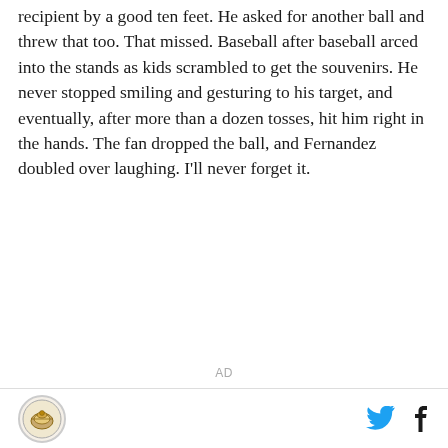recipient by a good ten feet. He asked for another ball and threw that too. That missed. Baseball after baseball arced into the stands as kids scrambled to get the souvenirs. He never stopped smiling and gesturing to his target, and eventually, after more than a dozen tosses, hit him right in the hands. The fan dropped the ball, and Fernandez doubled over laughing. I'll never forget it.
AD
logo | twitter | facebook